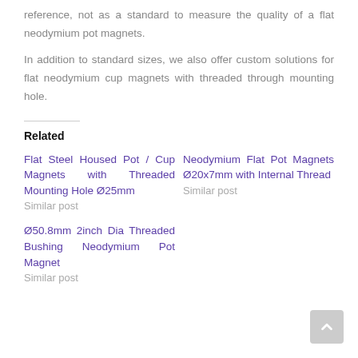reference, not as a standard to measure the quality of a flat neodymium pot magnets.
In addition to standard sizes, we also offer custom solutions for flat neodymium cup magnets with threaded through mounting hole.
Related
Flat Steel Housed Pot / Cup Magnets with Threaded Mounting Hole Ø25mm
Similar post
Neodymium Flat Pot Magnets Ø20x7mm with Internal Thread
Similar post
Ø50.8mm 2inch Dia Threaded Bushing Neodymium Pot Magnet
Similar post